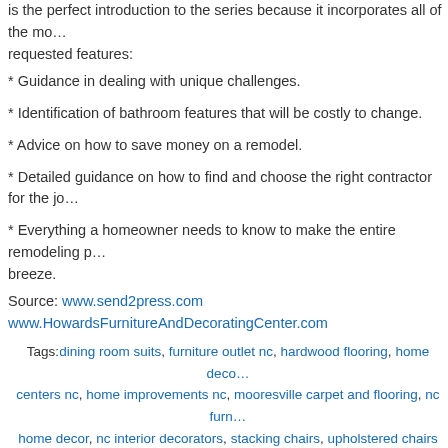is the perfect introduction to the series because it incorporates all of the most requested features:
* Guidance in dealing with unique challenges.
* Identification of bathroom features that will be costly to change.
* Advice on how to save money on a remodel.
* Detailed guidance on how to find and choose the right contractor for the job.
* Everything a homeowner needs to know to make the entire remodeling process a breeze.
Source: www.send2press.com
www.HowardsFurnitureAndDecoratingCenter.com
Tags: dining room suits, furniture outlet nc, hardwood flooring, home decorating centers nc, home improvements nc, mooresville carpet and flooring, nc furniture home decor, nc interior decorators, stacking chairs, upholstered chairs and upholstered furniture nc
Posted in Home Decorating | Comments Closed
3D Visualization Technology Helps Diverse Range of Businesses Innovate
Tuesday, November 24th, 2009
According to Miriam Artist Benchley, who runs a 3D studio...